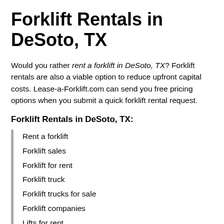Forklift Rentals in DeSoto, TX
Would you rather rent a forklift in DeSoto, TX? Forklift rentals are also a viable option to reduce upfront capital costs. Lease-a-Forklift.com can send you free pricing options when you submit a quick forklift rental request.
Forklift Rentals in DeSoto, TX:
Rent a forklift
Forklift sales
Forklift for rent
Forklift truck
Forklift trucks for sale
Forklift companies
Lifts for rent